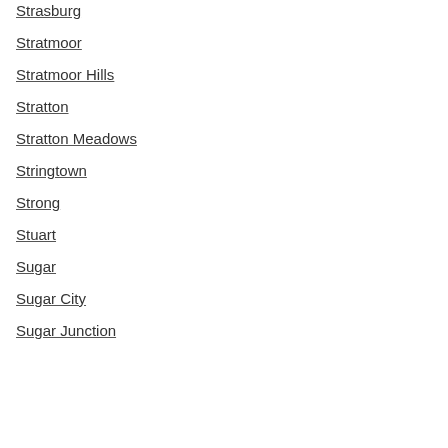Strasburg
Stratmoor
Stratmoor Hills
Stratton
Stratton Meadows
Stringtown
Strong
Stuart
Sugar
Sugar City
Sugar Junction